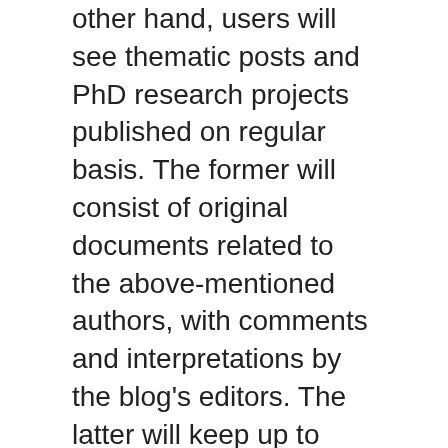other hand, users will see thematic posts and PhD research projects published on regular basis. The former will consist of original documents related to the above-mentioned authors, with comments and interpretations by the blog's editors. The latter will keep up to date on the on-going studies and researches by young scholars who approach the Scuola di Milano with new methodologies and under innovative perspectives.
All the material is published in Creative Commons 4.0. Its distribution is free and very welcome. The community that we aim to create by means of this project is open. Everybody interested in participating, be it by writing new posts or comments, or by simply giving us their